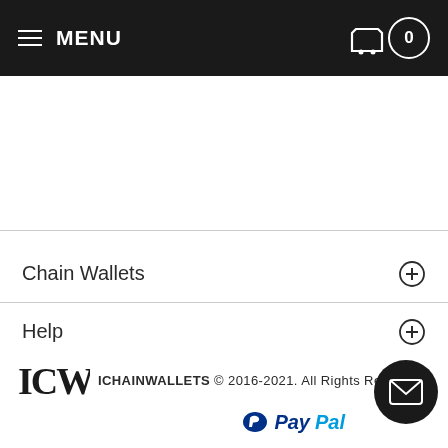MENU  0
[Figure (other): White rectangular banner/ad area below navigation header]
Chain Wallets
Help
NEWSLETTER SIGNUP
ICHAINWALLETS © 2016-2021. All Rights Reserved. PayPal